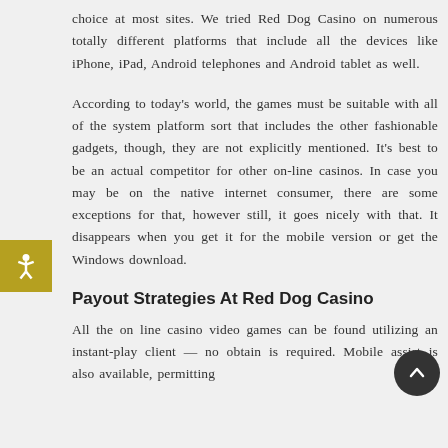choice at most sites. We tried Red Dog Casino on numerous totally different platforms that include all the devices like iPhone, iPad, Android telephones and Android tablet as well.
According to today's world, the games must be suitable with all of the system platform sort that includes the other fashionable gadgets, though, they are not explicitly mentioned. It's best to be an actual competitor for other on-line casinos. In case you may be on the native internet consumer, there are some exceptions for that, however still, it goes nicely with that. It disappears when you get it for the mobile version or get the Windows download.
Payout Strategies At Red Dog Casino
All the on line casino video games can be found utilizing an instant-play client — no obtain is required. Mobile assist is also available, permitting